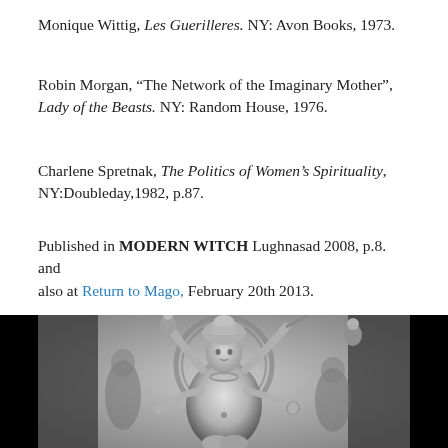Monique Wittig, Les Guerilleres. NY: Avon Books, 1973.
Robin Morgan, “The Network of the Imaginary Mother”, Lady of the Beasts. NY: Random House, 1976.
Charlene Spretnak, The Politics of Women’s Spirituality, NY:Doubleday,1982, p.87.
Published in MODERN WITCH Lughnasad 2008, p.8. and also at Return to Mago, February 20th 2013.
[Figure (photo): Black and white photograph of a multi-armed Hindu goddess sculpture (likely Durga), stone carving with elaborate crown and surrounding figures, against a black background.]